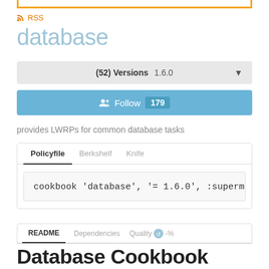[Figure (screenshot): Top orange border bar]
RSS
database
(52) Versions  1.6.0
Follow  179
provides LWRPs for common database tasks
Policyfile  Berkshelf  Knife
cookbook 'database', '= 1.6.0', :supermarke
README  Dependencies  Quality  -%
Database Cookbook